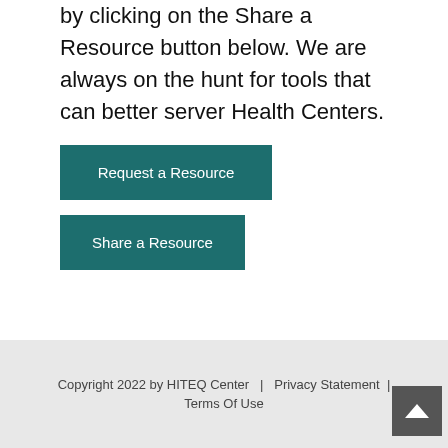by clicking on the Share a Resource button below. We are always on the hunt for tools that can better server Health Centers.
Request a Resource
Share a Resource
Copyright 2022 by HITEQ Center  |  Privacy Statement  |  Terms Of Use